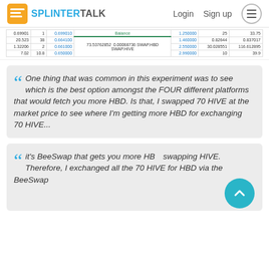SPLINTERTALK — Login  Sign up
| 0.69901 | 1 | 0.699010 | Balance | 1.250000 | 25 | 33.75 |
| 20.523 | 38 | 0.664100 | 73.53762852   0.00068736 SWAP.HBD SWAP.HIVE | 1.460000 | 0.82644 | 0.837017 |
| 1.32206 | 2 | 0.661000 |  | 2.550000 | 30.028551 | 116.612895 |
| 7.02 | 10.8 | 0.650000 |  | 2.990000 | 10 | 39.9 |
One thing that was common in this experiment was to see which is the best option amongst the FOUR different platforms that would fetch you more HBD. Is that, I swapped 70 HIVE at the market price to see where I'm getting more HBD for exchanging 70 HIVE...
it's BeeSwap that gets you more HBD swapping HIVE. Therefore, I exchanged all the 70 HIVE for HBD via the BeeSwap ...